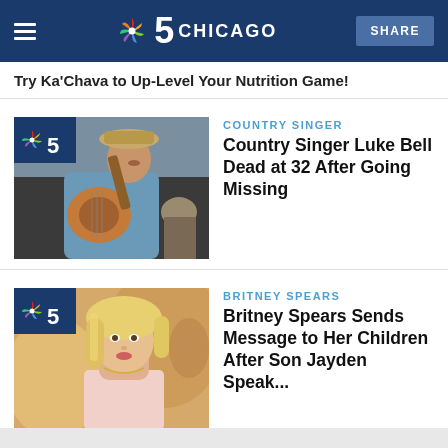NBC 5 Chicago — SHARE
Try Ka'Chava to Up-Level Your Nutrition Game!
[Figure (photo): Man playing acoustic guitar on stage, smiling, wearing a hat, with NBC 5 badge overlay]
COUNTRY SINGER
Country Singer Luke Bell Dead at 32 After Going Missing
[Figure (photo): Blonde woman (Britney Spears) at an event, with NBC 5 badge overlay]
BRITNEY SPEARS
Britney Spears Sends Message to Her Children After Son Jayden Speak...